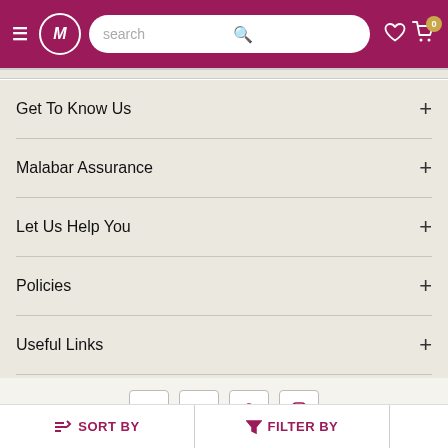Malabar Gold & Diamonds – header with search bar, wishlist and cart
Get To Know Us +
Malabar Assurance +
Let Us Help You +
Policies +
Useful Links +
Customer Service +
[Figure (screenshot): Social media icon buttons: Facebook, Twitter, Pinterest, Instagram]
SORT BY   FILTER BY